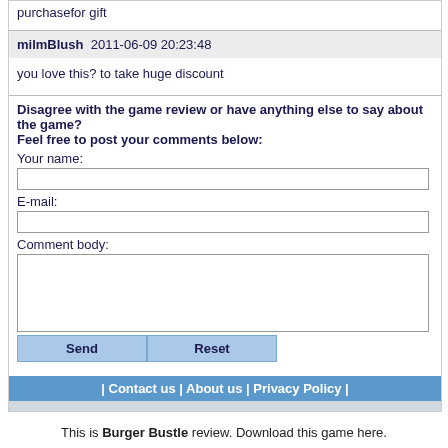purchasefor gift
milmBlush  2011-06-09 20:23:48
you love this? to take huge discount
Disagree with the game review or have anything else to say about the game? Feel free to post your comments below:
Your name:
E-mail:
Comment body:
| Contact us | About us | Privacy Policy |
This is Burger Bustle review. Download this game here.